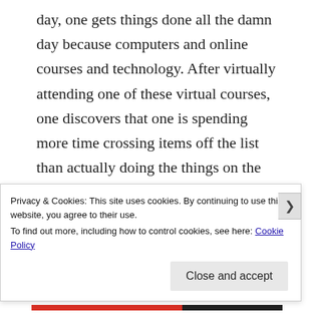day, one gets things done all the damn day because computers and online courses and technology. After virtually attending one of these virtual courses, one discovers that one is spending more time crossing items off the list than actually doing the things on the list.
Lists of life plans or life changes are daunting, and too often in my life these
Privacy & Cookies: This site uses cookies. By continuing to use this website, you agree to their use.
To find out more, including how to control cookies, see here: Cookie Policy